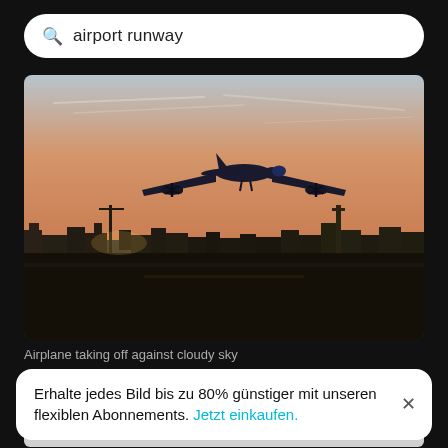airport runway
[Figure (photo): Airplane taking off against an orange/sunset sky with city skyline silhouette and airport runway in the background]
Airplane taking off against cloudy sky
[Figure (photo): Partially visible gray placeholder image for second search result]
Erhalte jedes Bild bis zu 80% günstiger mit unseren flexiblen Abonnements. Jetzt einkaufen.